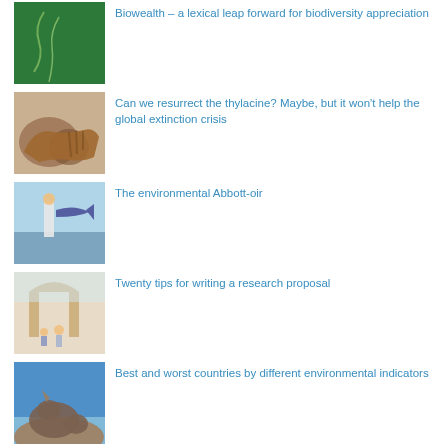Biowealth – a lexical leap forward for biodiversity appreciation
Can we resurrect the thylacine? Maybe, but it won't help the global extinction crisis
The environmental Abbott-oir
Twenty tips for writing a research proposal
Best and worst countries by different environmental indicators